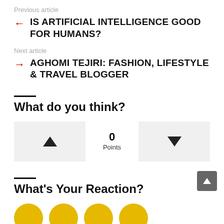Previous article
IS ARTIFICIAL INTELLIGENCE GOOD FOR HUMANS?
Next article
AGHOMI TEJIRI: FASHION, LIFESTYLE & TRAVEL BLOGGER
What do you think?
0 Points
What's Your Reaction?